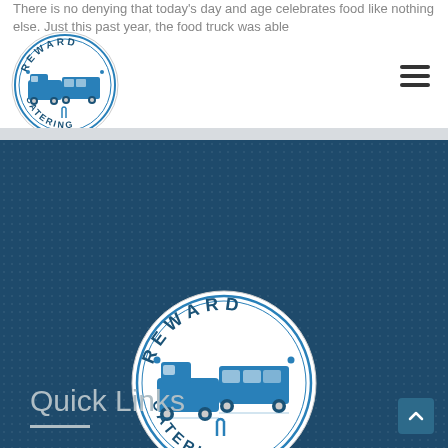There is no denying that today's day and age celebrates food like nothing else. Just this past year, the food truck was able
[Figure (logo): Reward Catering circular logo with food truck vehicles and text 'REWARD CATERING' — small, in header]
[Figure (logo): Reward Catering circular logo with food truck vehicles and text 'REWARD CATERING' — large, centered on dark blue background]
Quick Links